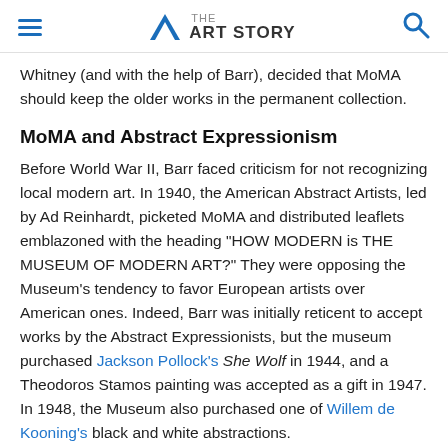THE ART STORY
Whitney (and with the help of Barr), decided that MoMA should keep the older works in the permanent collection.
MoMA and Abstract Expressionism
Before World War II, Barr faced criticism for not recognizing local modern art. In 1940, the American Abstract Artists, led by Ad Reinhardt, picketed MoMA and distributed leaflets emblazoned with the heading "HOW MODERN is THE MUSEUM OF MODERN ART?" They were opposing the Museum's tendency to favor European artists over American ones. Indeed, Barr was initially reticent to accept works by the Abstract Expressionists, but the museum purchased Jackson Pollock's She Wolf in 1944, and a Theodoros Stamos painting was accepted as a gift in 1947. In 1948, the Museum also purchased one of Willem de Kooning's black and white abstractions.
Even though Barr was MoMA's Director of Collections after